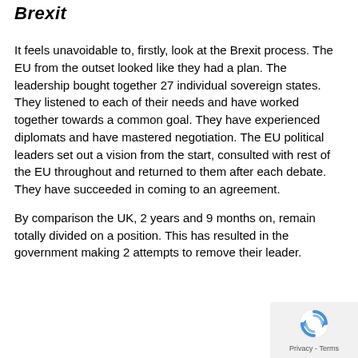Brexit
It feels unavoidable to, firstly, look at the Brexit process. The EU from the outset looked like they had a plan. The leadership bought together 27 individual sovereign states. They listened to each of their needs and have worked together towards a common goal. They have experienced diplomats and have mastered negotiation. The EU political leaders set out a vision from the start, consulted with rest of the EU throughout and returned to them after each debate. They have succeeded in coming to an agreement.
By comparison the UK, 2 years and 9 months on, remain totally divided on a position. This has resulted in the government making 2 attempts to remove their leader.
[Figure (other): Google reCAPTCHA widget with rotating arrows logo and Privacy - Terms text]